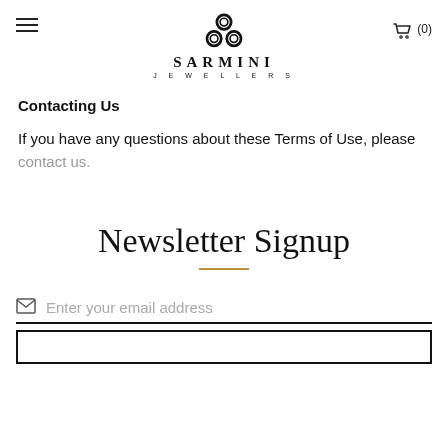SARMINI JEWELLERS
Contacting Us
If you have any questions about these Terms of Use, please contact us.
Newsletter Signup
Enter your email address